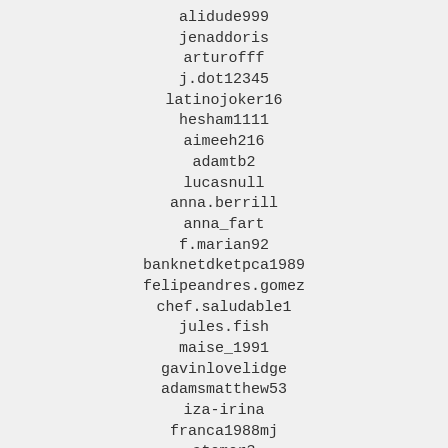alidude999
jenaddoris
arturofff
j.dot12345
latinojoker16
hesham1111
aimeeh216
adamtb2
lucasnull
anna.berrill
anna_fart
f.marian92
banknetdketpca1989
felipeandres.gomez
chef.saludable1
jules.fish
maise_1991
gavinlovelidge
adamsmatthew53
iza-irina
franca1988mj
atomor3
fast_dreamin_justin
andresvergaraguzman